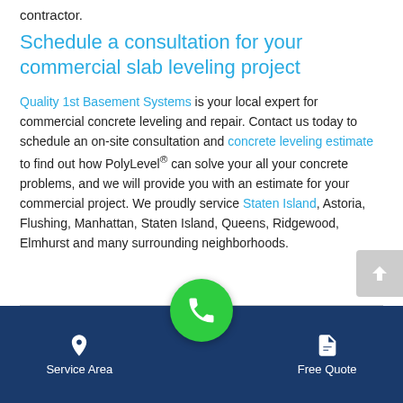contractor.
Schedule a consultation for your commercial slab leveling project
Quality 1st Basement Systems is your local expert for commercial concrete leveling and repair. Contact us today to schedule an on-site consultation and concrete leveling estimate to find out how PolyLevel® can solve your all your concrete problems, and we will provide you with an estimate for your commercial project. We proudly service Staten Island, Astoria, Flushing, Manhattan, Staten Island, Queens, Ridgewood, Elmhurst and many surrounding neighborhoods.
[Figure (infographic): Mobile navigation bar with Service Area (pin icon), phone call button (green circle with phone icon), and Free Quote (document icon) on dark blue background]